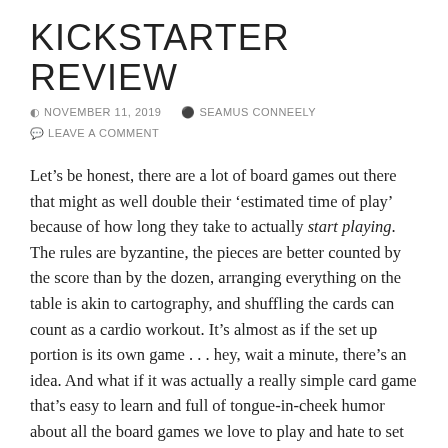KICKSTARTER REVIEW
NOVEMBER 11, 2019   SEAMUS CONNEELY   LEAVE A COMMENT
Let’s be honest, there are a lot of board games out there that might as well double their ‘estimated time of play’ because of how long they take to actually start playing. The rules are byzantine, the pieces are better counted by the score than by the dozen, arranging everything on the table is akin to cartography, and shuffling the cards can count as a cardio workout. It’s almost as if the set up portion is its own game . . . hey, wait a minute, there’s an idea. And what if it was actually a really simple card game that’s easy to learn and full of tongue-in-cheek humor about all the board games we love to play and hate to set up? That’s how we wind up with Complicated Board Game the Card Game: Time 2